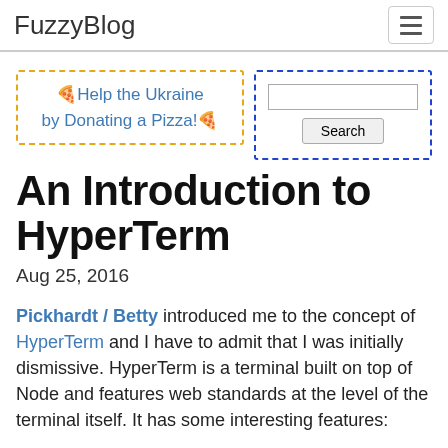FuzzyBlog
[Figure (other): Pizza donation widget with dashed orange border: '🍕Help the Ukraine by Donating a Pizza!🍕']
[Figure (other): Search widget with dashed blue border containing a text input and Search button]
An Introduction to HyperTerm
Aug 25, 2016
Pickhardt / Betty introduced me to the concept of HyperTerm and I have to admit that I was initially dismissive. HyperTerm is a terminal built on top of Node and features web standards at the level of the terminal itself. It has some interesting features: